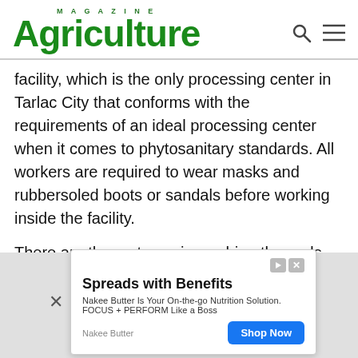AGRICULTURE MAGAZINE
facility, which is the only processing center in Tarlac City that conforms with the requirements of an ideal processing center when it comes to phytosanitary standards. All workers are required to wear masks and rubbersoled boots or sandals before working inside the facility.
There are three stages in washing the pods, and the third cycle ends in an icecold soaking before the pods go to the sorting and packing section. Pods with stains or physical defects, and oversized pods are rejected. The standard size
[Figure (infographic): Advertisement banner for Nakee Butter. Headline: Spreads with Benefits. Body: Nakee Butter Is Your On-the-go Nutrition Solution. FOCUS + PERFORM Like a Boss. Company: Nakee Butter. CTA button: Shop Now.]